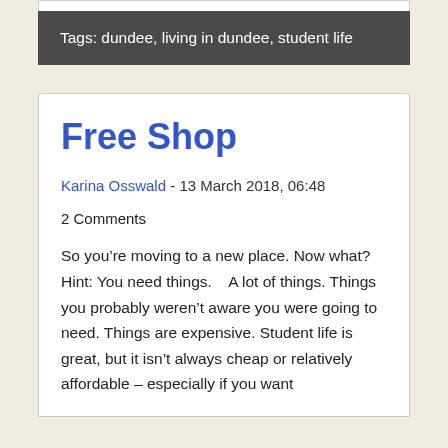Tags: dundee, living in dundee, student life
Free Shop
Karina Osswald - 13 March 2018, 06:48
2 Comments
So you're moving to a new place. Now what? Hint: You need things.   A lot of things. Things you probably weren't aware you were going to need. Things are expensive. Student life is great, but it isn't always cheap or relatively affordable – especially if you want